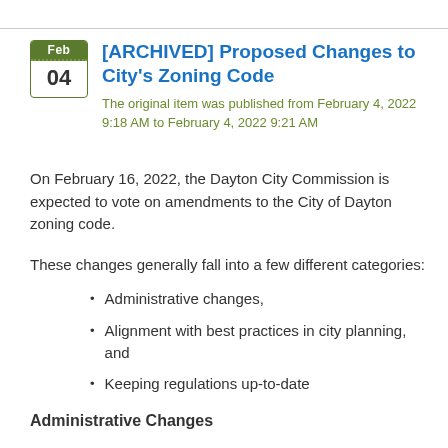[ARCHIVED] Proposed Changes to City's Zoning Code
The original item was published from February 4, 2022 9:18 AM to February 4, 2022 9:21 AM
On February 16, 2022, the Dayton City Commission is expected to vote on amendments to the City of Dayton zoning code.
These changes generally fall into a few different categories:
Administrative changes,
Alignment with best practices in city planning, and
Keeping regulations up-to-date
Administrative Changes